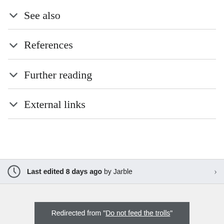See also
References
Further reading
External links
Last edited 8 days ago by Jarble
Redirected from "Do not feed the trolls"